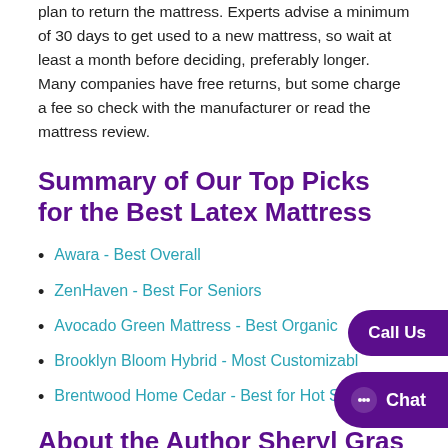plan to return the mattress. Experts advise a minimum of 30 days to get used to a new mattress, so wait at least a month before deciding, preferably longer. Many companies have free returns, but some charge a fee so check with the manufacturer or read the mattress review.
Summary of Our Top Picks for the Best Latex Mattress
Awara - Best Overall
ZenHaven - Best For Seniors
Avocado Green Mattress - Best Organic
Brooklyn Bloom Hybrid - Most Customizable
Brentwood Home Cedar - Best for Hot Sleepers
About the Author Sheryl Gras…
Sheryl is a professional writer and researcher with a long-